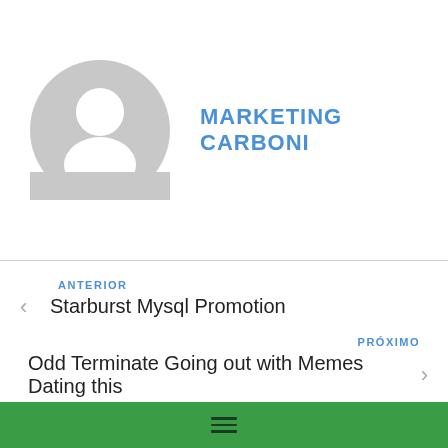[Figure (illustration): Generic grey user avatar/profile placeholder icon — circular shape with silhouette of a person (head and shoulders)]
MARKETING CARBONI
ANTERIOR
< Starburst Mysql Promotion
PRÓXIMO
Odd Terminate Going out with Memes Dating this >
[Figure (other): Green navigation bar at the bottom with a hamburger menu icon (three horizontal lines)]